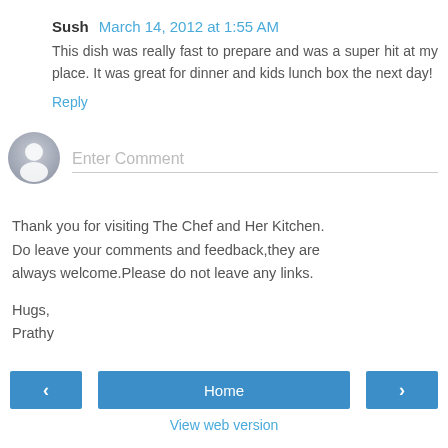Sush  March 14, 2012 at 1:55 AM
This dish was really fast to prepare and was a super hit at my place. It was great for dinner and kids lunch box the next day!
Reply
[Figure (illustration): Grey avatar circle icon for comment entry]
Enter Comment
Thank you for visiting The Chef and Her Kitchen.
Do leave your comments and feedback,they are always welcome.Please do not leave any links.
Hugs,
Prathy
‹
Home
›
View web version